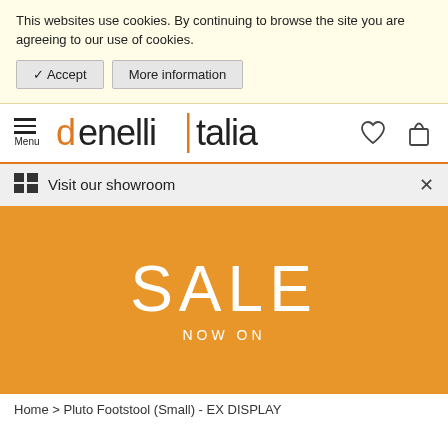This websites use cookies. By continuing to browse the site you are agreeing to our use of cookies.
✔ Accept   More information
[Figure (logo): Denelli Italia logo with hamburger menu icon, heart icon, and shopping bag icon]
Visit our showroom   X
[Figure (infographic): Orange sale banner with large white text reading SALE NOW ON]
Home > Pluto Footstool (Small) - EX DISPLAY